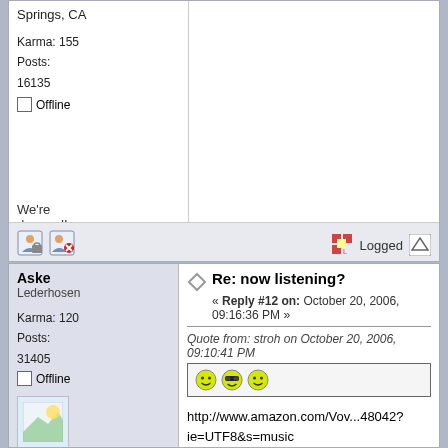Springs, CA
Karma: 155
Posts: 16135
Offline
We're doomed!
Logged
Aske
Lederhosen
Karma: 120
Posts: 31405
Offline
Re: now listening?
« Reply #12 on: October 20, 2006, 09:16:36 PM »
Quote from: stroh on October 20, 2006, 09:10:41 PM
http://www.amazon.com/Vov...48042?ie=UTF8&s=music

some of the early trax on this album are classic and maybe more digestible for you?